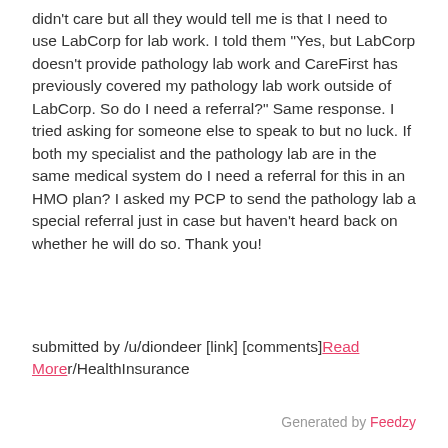didn't care but all they would tell me is that I need to use LabCorp for lab work. I told them "Yes, but LabCorp doesn't provide pathology lab work and CareFirst has previously covered my pathology lab work outside of LabCorp. So do I need a referral?" Same response. I tried asking for someone else to speak to but no luck. If both my specialist and the pathology lab are in the same medical system do I need a referral for this in an HMO plan? I asked my PCP to send the pathology lab a special referral just in case but haven't heard back on whether he will do so. Thank you!
submitted by /u/diondeer [link] [comments]Read Morer/HealthInsurance
Generated by Feedzy